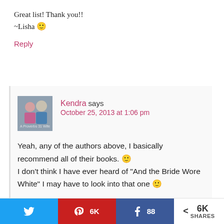Great list! Thank you!!
~Lisha 🙂
Reply
Kendra says
October 25, 2013 at 1:06 pm
Yeah, any of the authors above, I basically recommend all of their books. 🙂
I don't think I have ever heard of "And the Bride Wore White" I may have to look into that one 🙂
Reply
Twitter  Pinterest 6K  Facebook 88  < 6K SHARES